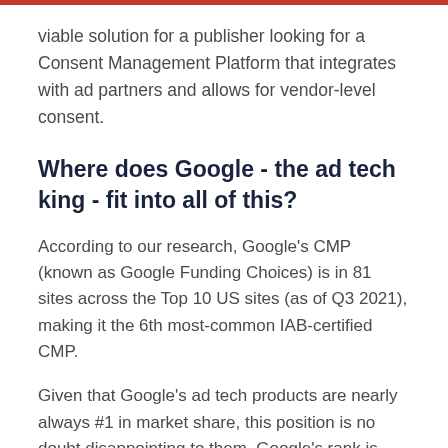viable solution for a publisher looking for a Consent Management Platform that integrates with ad partners and allows for vendor-level consent.
Where does Google - the ad tech king - fit into all of this?
According to our research, Google's CMP (known as Google Funding Choices) is in 81 sites across the Top 10 US sites (as of Q3 2021), making it the 6th most-common IAB-certified CMP.
Given that Google's ad tech products are nearly always #1 in market share, this position is no doubt disappointing to them. Google's rank is